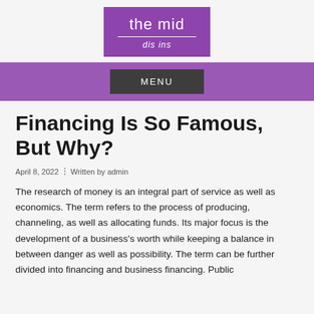[Figure (logo): The mid dis ins logo — purple rectangle with white text 'the mid' underlined and italic subtitle 'dis ins']
MENU
Financing Is So Famous, But Why?
April 8, 2022  ⁝  Written by admin
The research of money is an integral part of service as well as economics. The term refers to the process of producing, channeling, as well as allocating funds. Its major focus is the development of a business's worth while keeping a balance in between danger as well as possibility. The term can be further divided into financing and business financing. Public